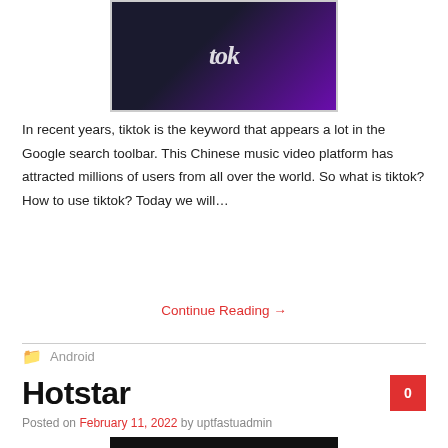[Figure (photo): TikTok app logo on a smartphone screen with purple/dark background]
In recent years, tiktok is the keyword that appears a lot in the Google search toolbar. This Chinese music video platform has attracted millions of users from all over the world. So what is tiktok? How to use tiktok? Today we will…
Continue Reading →
Android
Hotstar
Posted on February 11, 2022 by uptfastuadmin
[Figure (photo): Hotstar app or related media content image (partially visible)]